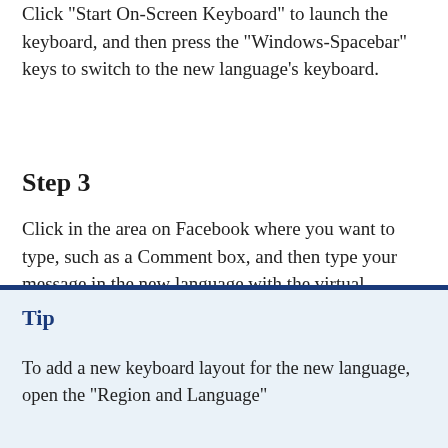Click "Start On-Screen Keyboard" to launch the keyboard, and then press the "Windows-Spacebar" keys to switch to the new language's keyboard.
Step 3
Click in the area on Facebook where you want to type, such as a Comment box, and then type your message in the new language with the virtual keyboard.
Tip
To add a new keyboard layout for the new language, open the "Region and Language"